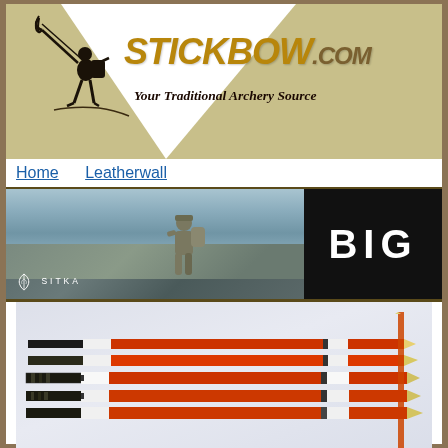[Figure (logo): Stickbow.com logo with archer silhouette, golden/olive background with white triangle, text STICKBOW.COM in gold italic font, tagline Your Traditional Archery Source]
Home    Leatherwall
[Figure (photo): Sitka brand banner with hunter in camouflage walking on rocky terrain, mountain background, SITKA logo on left, BIG text on black right panel]
[Figure (photo): Product photo showing multiple orange/red arrows with black and white wrapping/cresting at nock end and tip end, arranged in a fan pattern on light background]